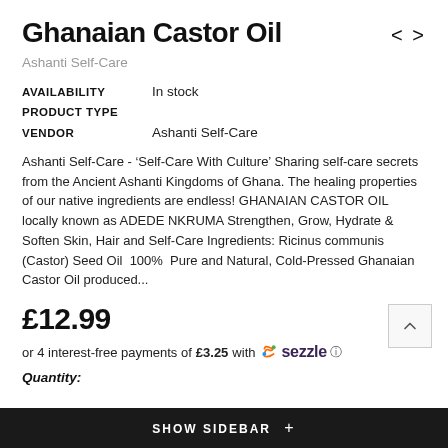Ghanaian Castor Oil
Ashanti Self-Care
| Field | Value |
| --- | --- |
| AVAILABILITY | In stock |
| PRODUCT TYPE |  |
| VENDOR | Ashanti Self-Care |
Ashanti Self-Care - ‘Self-Care With Culture’ Sharing self-care secrets from the Ancient Ashanti Kingdoms of Ghana. The healing properties of our native ingredients are endless! GHANAIAN CASTOR OIL locally known as ADEDE NKRUMA Strengthen, Grow, Hydrate & Soften Skin, Hair and Self-Care Ingredients: Ricinus communis (Castor) Seed Oil  100%  Pure and Natural, Cold-Pressed Ghanaian Castor Oil produced...
£12.99
or 4 interest-free payments of £3.25 with Sezzle
Quantity:
SHOW SIDEBAR +